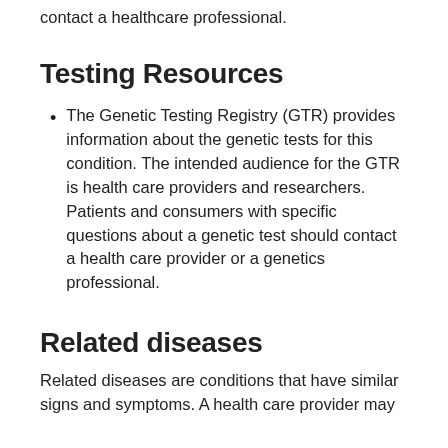contact a healthcare professional.
Testing Resources
The Genetic Testing Registry (GTR) provides information about the genetic tests for this condition. The intended audience for the GTR is health care providers and researchers. Patients and consumers with specific questions about a genetic test should contact a health care provider or a genetics professional.
Related diseases
Related diseases are conditions that have similar signs and symptoms. A health care provider may